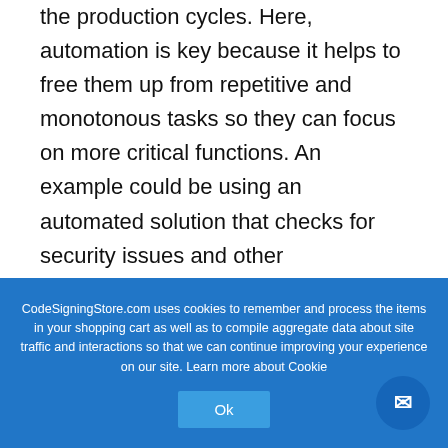the production cycles. Here, automation is key because it helps to free them up from repetitive and monotonous tasks so they can focus on more critical functions. An example could be using an automated solution that checks for security issues and other vulnerabilities.
2. Challenge: Silos
This is another industry cultural-related
CodeSigningStore.com uses cookies to remember and process the items in your shopping cart as well as to compile aggregate data about site traffic and interactions so that we can continue improving your experience on our site. Learn more about Cookie